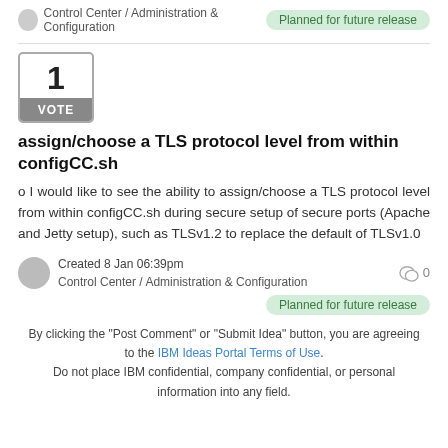Control Center / Administration & Configuration
Planned for future release
[Figure (other): Vote box showing number 1 with VOTE label]
assign/choose a TLS protocol level from within configCC.sh
o I would like to see the ability to assign/choose a TLS protocol level from within configCC.sh during secure setup of secure ports (Apache and Jetty setup), such as TLSv1.2 to replace the default of TLSv1.0
Created 8 Jan 06:39pm
Control Center / Administration & Configuration
0
Planned for future release
By clicking the "Post Comment" or "Submit Idea" button, you are agreeing to the IBM Ideas Portal Terms of Use. Do not place IBM confidential, company confidential, or personal information into any field.